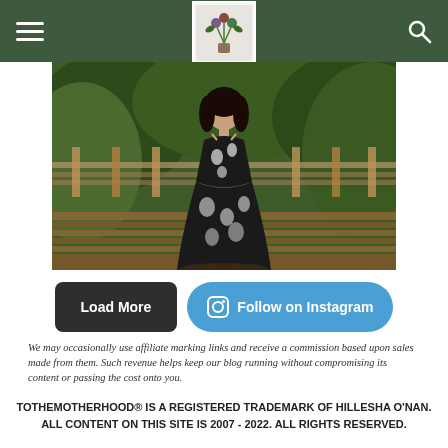Navigation header with hamburger menu, logo, and search icon
[Figure (photo): Woman standing on a wooden deck/bridge wearing a black and white floral maxi dress, surrounded by green foliage and trees]
Load More
Follow on Instagram
We may occasionally use affiliate marking links and receive a commission based upon sales made from them. Such revenue helps keep our blog running without compromising its content or passing the cost onto you.
TOTHEMOTHERHOOD® IS A REGISTERED TRADEMARK OF HILLESHA O'NAN. ALL CONTENT ON THIS SITE IS 2007 - 2022. ALL RIGHTS RESERVED.